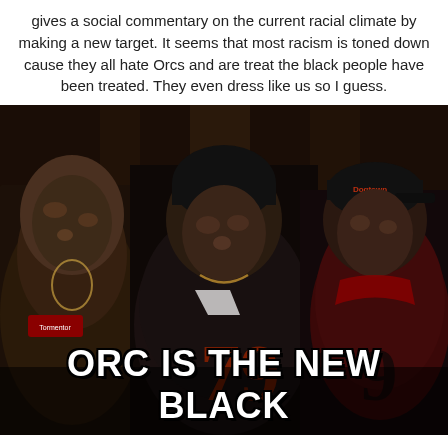gives a social commentary on the current racial climate by making a new target. It seems that most racism is toned down cause they all hate Orcs and are treat the black people have been treated. They even dress like us so I guess.
[Figure (photo): Three figures in orc makeup wearing urban streetwear and sports jerseys, with bold white text overlay reading 'ORC IS THE NEW BLACK']